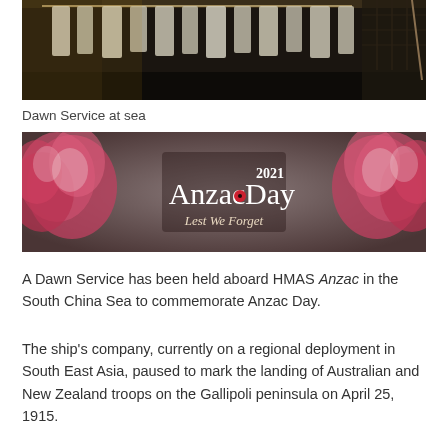[Figure (photo): Dark photograph of a dawn service at sea aboard a naval vessel, showing hanging white uniforms/shirts against a dark ship background]
Dawn Service at sea
[Figure (photo): Anzac Day 2021 banner with pink/red poppies and text reading 'Anzac Day 2021 Lest We Forget']
A Dawn Service has been held aboard HMAS Anzac in the South China Sea to commemorate Anzac Day.
The ship's company, currently on a regional deployment in South East Asia, paused to mark the landing of Australian and New Zealand troops on the Gallipoli peninsula on April 25, 1915.